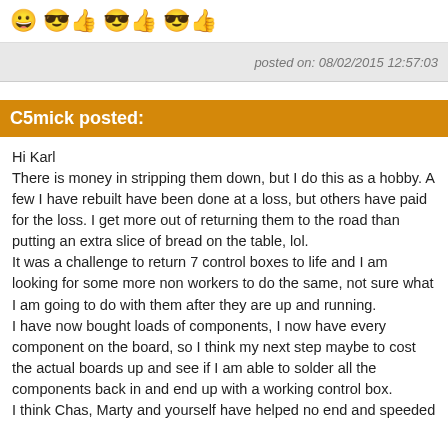[Figure (other): Row of emoji icons: smiley face, cool face with thumbs up, cool face with thumbs up, cool face with thumbs up]
posted on: 08/02/2015 12:57:03
C5mick posted:
Hi Karl
There is money in stripping them down, but I do this as a hobby. A few I have rebuilt have been done at a loss, but others have paid for the loss. I get more out of returning them to the road than putting an extra slice of bread on the table, lol.
It was a challenge to return 7 control boxes to life and I am looking for some more non workers to do the same, not sure what I am going to do with them after they are up and running.
I have now bought loads of components, I now have every component on the board, so I think my next step maybe to cost the actual boards up and see if I am able to solder all the components back in and end up with a working control box.
I think Chas, Marty and yourself have helped no end and speeded things up...